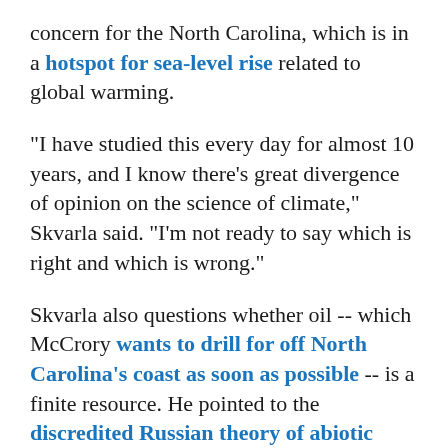concern for the North Carolina, which is in a hotspot for sea-level rise related to global warming.
"I have studied this every day for almost 10 years, and I know there's great divergence of opinion on the science of climate," Skvarla said. "I'm not ready to say which is right and which is wrong."
Skvarla also questions whether oil -- which McCrory wants to drill for off North Carolina's coast as soon as possible -- is a finite resource. He pointed to the discredited Russian theory of abiotic petroleum, which holds that oil is not a fossil fuel formed from ancient zooplankton and algae but instead